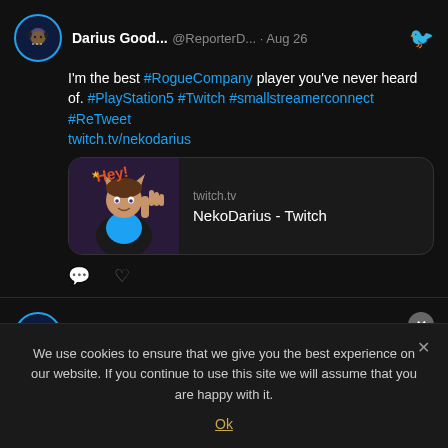Darius Good... @ReporterD... · Aug 26 — I'm the best #RogueCompany player you've never heard of. #PlayStation5 #Twitch #smallstreamerconnect #ReTweet twitch.tv/nekodarius
[Figure (screenshot): Link preview card for twitch.tv showing NekoDarius animated avatar with Hey! text and NekoDarius - Twitch title]
Darius Good... @ReporterD... · Aug 26 — What even IS THIS???? #PS5Share,
We use cookies to ensure that we give you the best experience on our website. If you continue to use this site we will assume that you are happy with it.
Ok